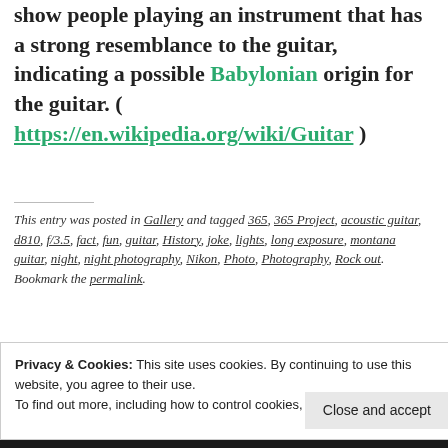show people playing an instrument that has a strong resemblance to the guitar, indicating a possible Babylonian origin for the guitar. ( https://en.wikipedia.org/wiki/Guitar )
This entry was posted in Gallery and tagged 365, 365 Project, acoustic guitar, d810, f/3.5, fact, fun, guitar, History, joke, lights, long exposure, montana guitar, night, night photography, Nikon, Photo, Photography, Rock out Bookmark the permalink.
Privacy & Cookies: This site uses cookies. By continuing to use this website, you agree to their use. To find out more, including how to control cookies, see here: Cookie Policy
YOU DON'T KNOW